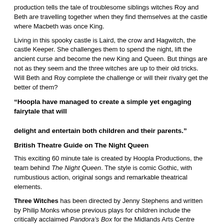production tells the tale of troublesome siblings witches Roy and Beth are travelling together when they find themselves at the castle where Macbeth was once King.
Living in this spooky castle is Laird, the crow and Hagwitch, the castle Keeper. She challenges them to spend the night, lift the ancient curse and become the new King and Queen. But things are not as they seem and the three witches are up to their old tricks. Will Beth and Roy complete the challenge or will their rivalry get the better of them?
“Hoopla have managed to create a simple yet engaging fairytale that will delight and entertain both children and their parents.”
British Theatre Guide on The Night Queen
This exciting 60 minute tale is created by Hoopla Productions, the team behind The Night Queen. The style is comic Gothic, with rumbustious action, original songs and remarkable theatrical elements.
Three Witches has been directed by Jenny Stephens and written by Philip Monks whose previous plays for children include the critically acclaimed Pandora’s Box for the Midlands Arts Centre (MAC) where he was Playwright in Residence from 2004 to 2005.
Three Witches is recommended for children aged 6 and above.